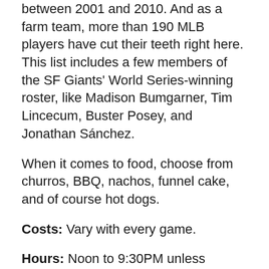between 2001 and 2010. And as a farm team, more than 190 MLB players have cut their teeth right here. This list includes a few members of the SF Giants' World Series-winning roster, like Madison Bumgarner, Tim Lincecum, Buster Posey, and Jonathan Sánchez.
When it comes to food, choose from churros, BBQ, nachos, funnel cake, and of course hot dogs.
Costs: Vary with every game.
Hours: Noon to 9:30PM unless mentioned otherwise.
3. Monopoly in the Park!